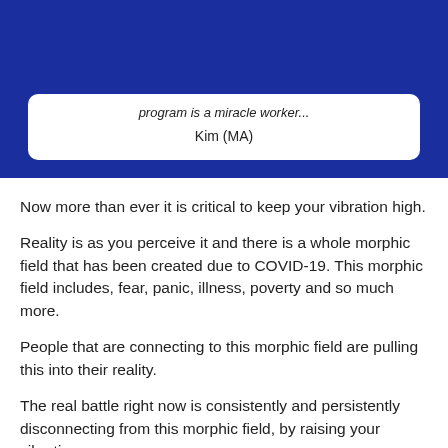program is a miracle worker...
Kim (MA)
Now more than ever it is critical to keep your vibration high.
Reality is as you perceive it and there is a whole morphic field that has been created due to COVID-19. This morphic field includes, fear, panic, illness, poverty and so much more.
People that are connecting to this morphic field are pulling this into their reality.
The real battle right now is consistently and persistently disconnecting from this morphic field, by raising your vibration.